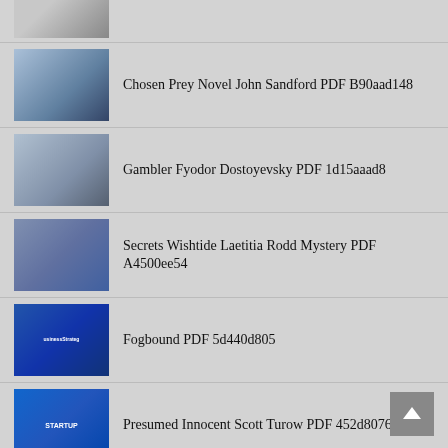Chosen Prey Novel John Sandford PDF B90aad148
Gambler Fyodor Dostoyevsky PDF 1d15aaad8
Secrets Wishtide Laetitia Rodd Mystery PDF A4500ee54
Fogbound PDF 5d440d805
Presumed Innocent Scott Turow PDF 452d80764
Murder Chance Golden Age Mystery PDF 2664f026d